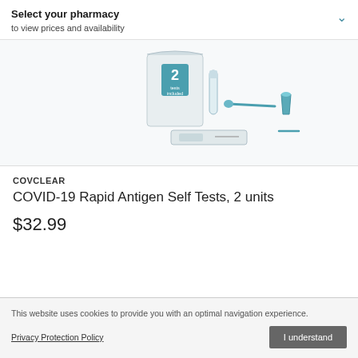Select your pharmacy
to view prices and availability
[Figure (illustration): COVID-19 rapid antigen self test kit product image showing box with '2 tests included' label, test tube, swab, and small container]
COVCLEAR
COVID-19 Rapid Antigen Self Tests, 2 units
$32.99
This website uses cookies to provide you with an optimal navigation experience.
Privacy Protection Policy
I understand